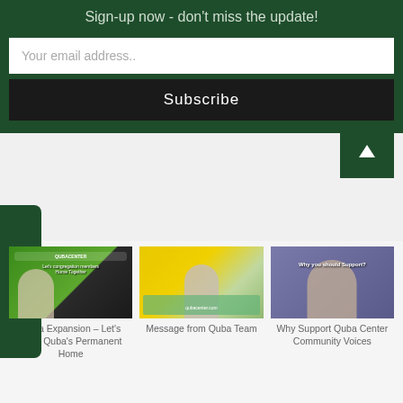Sign-up now - don't miss the update!
Your email address..
Subscribe
Donation
[Figure (screenshot): Video thumbnail: Quba Expansion - green background with a person]
Quba Expansion – Let's Build Quba's Permanent Home
[Figure (screenshot): Video thumbnail: Message from Quba Team - map background with a person]
Message from Quba Team
[Figure (screenshot): Video thumbnail: Why Support Quba Center Community Voices - person with text overlay]
Why Support Quba Center Community Voices